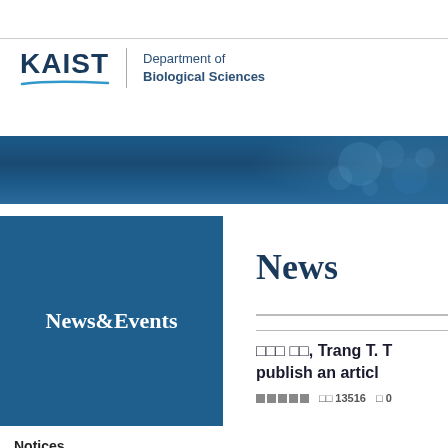[Figure (logo): KAIST Department of Biological Sciences logo with swoosh underline and department name text]
[Figure (illustration): Blue gradient banner with biological/cell imagery on the right side]
News&Events
Notices
News
Recruiting
News
□□□ □□, Trang T. T... publish an articl...
□□□□□  □□ 13516  □ 0